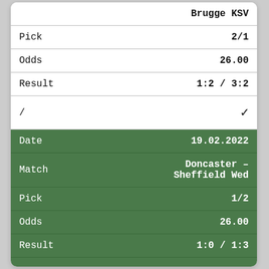|  | Brugge KSV |
| Pick | 2/1 |
| Odds | 26.00 |
| Result | 1:2 / 3:2 |
| /  | ✓ |
| Date | 19.02.2022 |
| Match | Doncaster – Sheffield Wed |
| Pick | 1/2 |
| Odds | 26.00 |
| Result | 1:0 / 1:3 |
|  | ✓ |